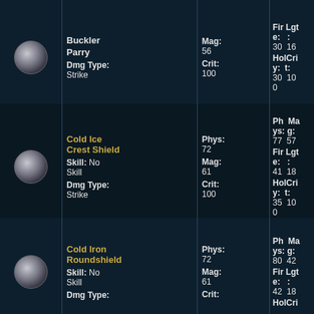| Icon | Name/Skill/DmgType | Phys/Mag/Crit | Resistances | Weight |
| --- | --- | --- | --- | --- |
| [icon] | Buckler Parry
Skill: [partial]
Dmg Type: Strike | Phys: [partial]
Mag: 56
Crit: 100 | Phys: 30 Mag: 16
Fire: : 
Holy: 30 Crit: 100 | 1.5 |
| [icon] | Cold Ice Crest Shield
Skill: No Skill
Dmg Type: Strike | Phys: 72
Mag: 61
Crit: 100 | Phys: 77 Mag: 57
Fire: 41 Lgt: 18
Holy: 35 Crit: 100 | 3 |
| [icon] | Cold Iron Roundshield
Skill: No Skill
Dmg Type: [partial] | Phys: 72
Mag: 61
Crit: [partial] | Phys: 80 Mag: 42
Fire: 42 Lgt: 18
Holy: [partial] | 3 |